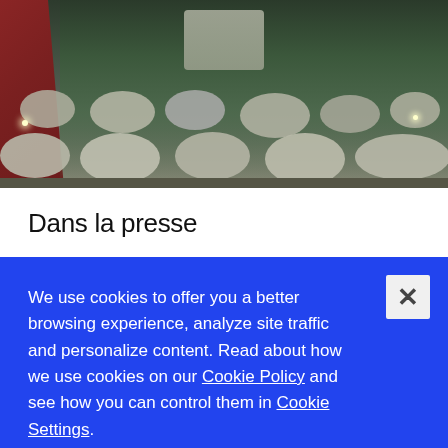[Figure (photo): Photo of a person in a red top viewed from behind, standing in a modern indoor garden/atrium space with large rounded stone-like floor tiles, lush tropical plants, and circular raised planters with ambient lighting.]
Dans la presse
We use cookies to offer you a better browsing experience, analyze site traffic and personalize content. Read about how we use cookies on our Cookie Policy and see how you can control them in Cookie Settings.